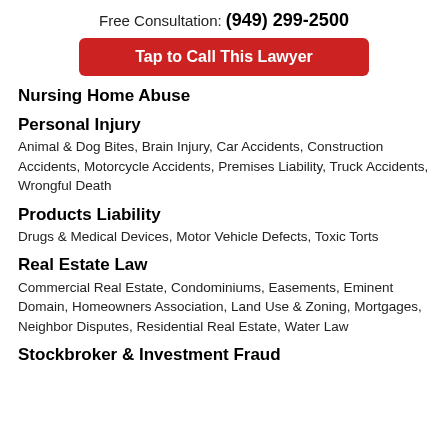Free Consultation: (949) 299-2500
[Figure (other): Red button: Tap to Call This Lawyer]
Nursing Home Abuse
Personal Injury
Animal & Dog Bites, Brain Injury, Car Accidents, Construction Accidents, Motorcycle Accidents, Premises Liability, Truck Accidents, Wrongful Death
Products Liability
Drugs & Medical Devices, Motor Vehicle Defects, Toxic Torts
Real Estate Law
Commercial Real Estate, Condominiums, Easements, Eminent Domain, Homeowners Association, Land Use & Zoning, Mortgages, Neighbor Disputes, Residential Real Estate, Water Law
Stockbroker & Investment Fraud